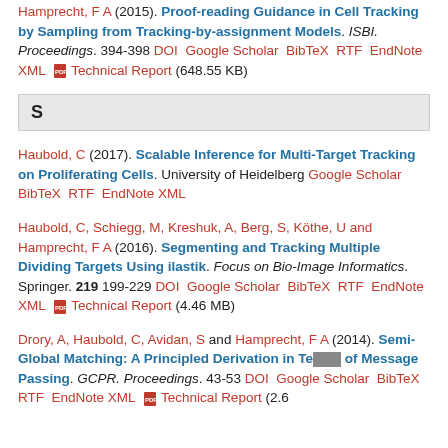Hamprecht, F A (2015). Proof-reading Guidance in Cell Tracking by Sampling from Tracking-by-assignment Models. ISBI. Proceedings. 394-398 DOI Google Scholar BibTeX RTF EndNote XML [PDF] Technical Report (648.55 KB)
S
Haubold, C (2017). Scalable Inference for Multi-Target Tracking on Proliferating Cells. University of Heidelberg Google Scholar BibTeX RTF EndNote XML
Haubold, C, Schiegg, M, Kreshuk, A, Berg, S, Köthe, U and Hamprecht, F A (2016). Segmenting and Tracking Multiple Dividing Targets Using ilastik. Focus on Bio-Image Informatics. Springer. 219 199-229 DOI Google Scholar BibTeX RTF EndNote XML [PDF] Technical Report (4.46 MB)
Drory, A, Haubold, C, Avidan, S and Hamprecht, F A (2014). Semi-Global Matching: A Principled Derivation in Terms of Message Passing. GCPR. Proceedings. 43-53 DOI Google Scholar BibTeX RTF EndNote XML [PDF] Technical Report (2.6